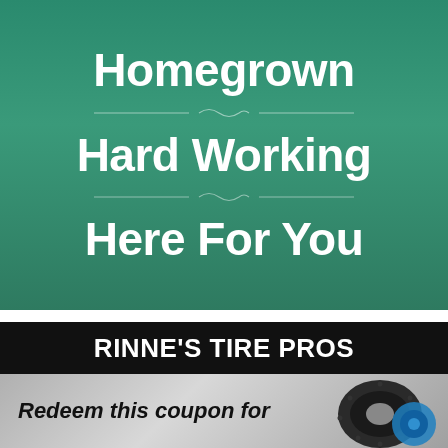Homegrown Hard Working Here For You
RINNE'S TIRE PROS
Redeem this coupon for